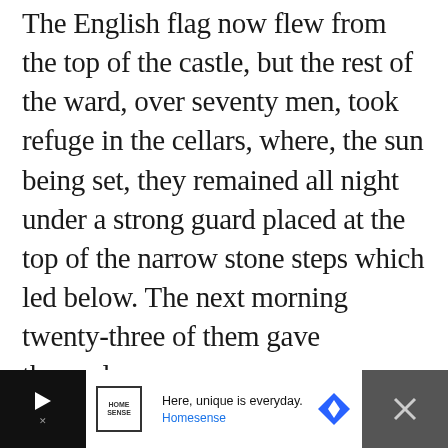The English flag now flew from the top of the castle, but the rest of the ward, over seventy men, took refuge in the cellars, where, the sun being set, they remained all night under a strong guard placed at the top of the narrow stone steps which led below. The next morning twenty-three of them gave themselves up.
[Figure (other): Advertisement banner for Homesense retail store with tagline 'Here, unique is everyday.' featuring the Homesense logo, a blue diamond navigation icon, and a close button.]